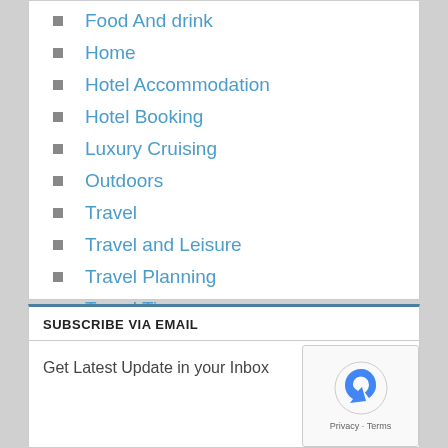Food And drink
Home
Hotel Accommodation
Hotel Booking
Luxury Cruising
Outdoors
Travel
Travel and Leisure
Travel Planning
Travel Tips
Vacations
SUBSCRIBE VIA EMAIL
Get Latest Update in your Inbox